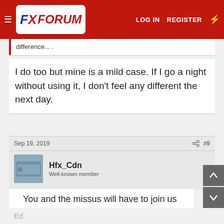FX FORUM  LOG IN  REGISTER
difference...
I do too but mine is a mild case. If I go a night without using it, I don't feel any different the next day.
Sep 19, 2019  #9
Hfx_Cdn
Well-known member
You and the missus will have to join us for our annual lunch in January, usually in Lakeland.  Rene is set up there and I'm in Pinellas Park
Ed